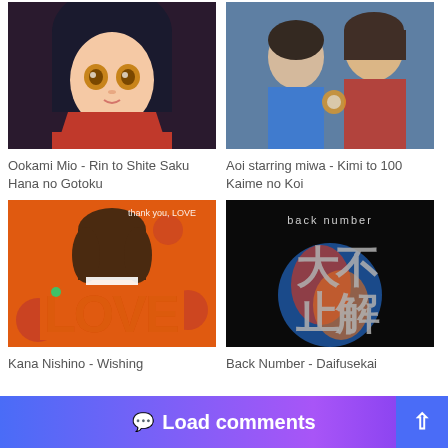[Figure (illustration): Anime character with dark hair and orange eyes, red/black color scheme]
Ookami Mio - Rin to Shite Saku Hana no Gotoku
[Figure (photo): Two people, one in blue jacket and one in red jacket with guitar decoration]
Aoi starring miwa - Kimi to 100 Kaime no Koi
[Figure (photo): Woman holding large LOVE letters, orange background, album art for Kana Nishino Wishing]
Kana Nishino - Wishing
[Figure (photo): Back Number album art - Daifusekai, dark background with Japanese characters]
Back Number - Daifusekai
< Nissy - The Days
BiSH - Futari nara >
Load comments